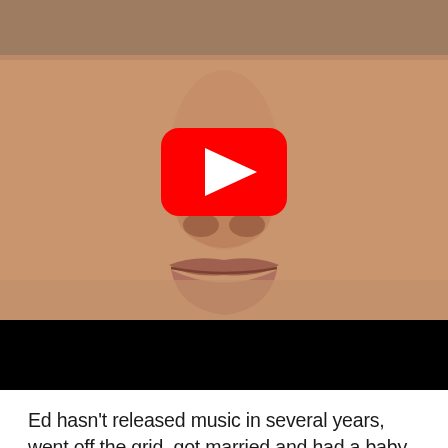[Figure (screenshot): YouTube video thumbnail showing a close-up of a person's face (nose and lips visible), with a red YouTube play button overlay in the center. The lower portion of the thumbnail has a black bar (possibly video controls or redacted text).]
Ed hasn't released music in several years, went off the grid, got married and had a baby and now HE BACK. And WHAAAT a weird way to come back. Sure, the song is catchy and a nice little